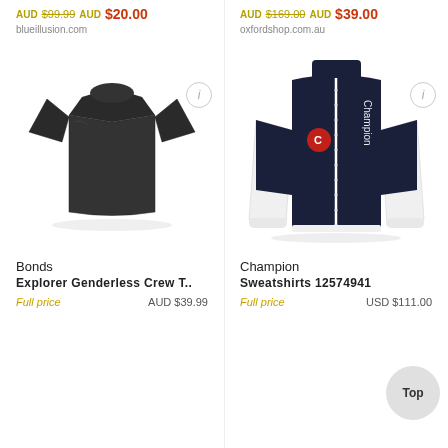AUD $99.99 AUD $20.00
blueillusion.com
AUD $169.00 AUD $39.00
oxfordshop.com.au
[Figure (photo): Black crew neck t-shirt (Bonds Explorer Genderless Crew T)]
[Figure (photo): Champion brand track jacket in navy, white and red colorblock with zipper]
Bonds
Explorer Genderless Crew T..
Full price    AUD $39.99
Champion
Sweatshirts 12574941
Full price    USD $111.00